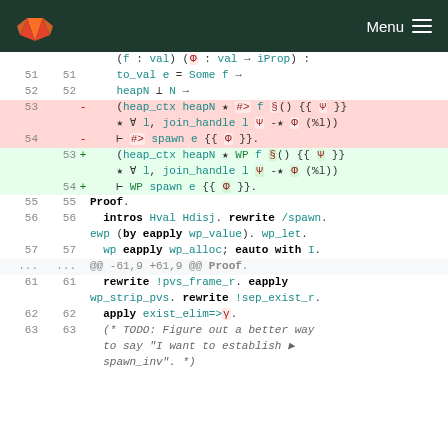GitLab — Menu
[Figure (screenshot): Code diff view showing changes in a formal verification proof, replacing '#>' with 'WP' in spawn lemma lines 53-54, followed by proof script lines 55-63]
(f : val) (Φ : val → iProp) :
  to_val e = Some f →
  heapN ⊥ N →
  (heap_ctx heapN ★ #> f §() {{ Ψ }}
  ★ ∀ l, join_handle l Ψ -★ Φ (%l))
  ⊢ #> spawn e {{ Φ }}.
Proof.
  intros Hval Hdisj. rewrite /spawn.
  ewp (by eapply wp_value). wp_let.
  wp eapply wp_alloc; eauto with I.
@@ -61,9 +61,9 @@ Proof.
  rewrite !pvs_frame_r. eapply wp_strip_pvs. rewrite !sep_exist_r.
  apply exist_elim=>γ.
  (* TODO: Figure out a better way to say "I want to establish ▶ spawn_inv". *)